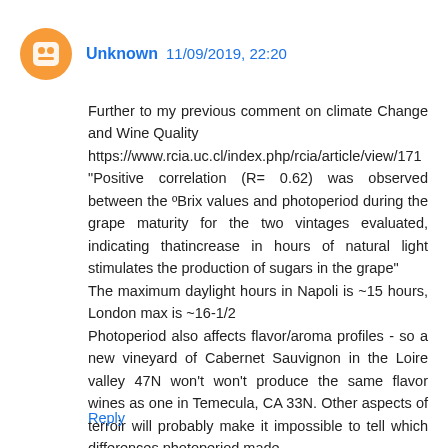Unknown 11/09/2019, 22:20
Further to my previous comment on climate Change and Wine Quality
https://www.rcia.uc.cl/index.php/rcia/article/view/171
"Positive correlation (R= 0.62) was observed between the ºBrix values and photoperiod during the grape maturity for the two vintages evaluated, indicating thatincrease in hours of natural light stimulates the production of sugars in the grape"
The maximum daylight hours in Napoli is ~15 hours, London max is ~16-1/2
Photoperiod also affects flavor/aroma profiles - so a new vineyard of Cabernet Sauvignon in the Loire valley 47N won't won't produce the same flavor wines as one in Temecula, CA 33N. Other aspects of terroir will probably make it impossible to tell which differences photoperiod made.
Reply